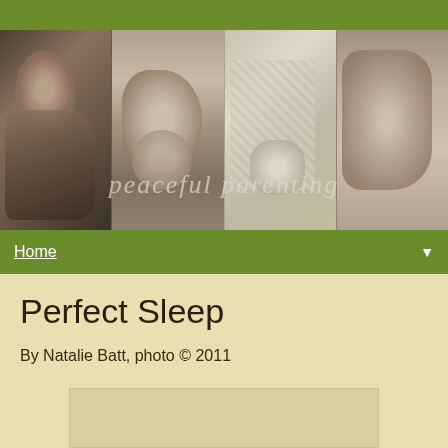[Figure (photo): Header photo strip showing four black-and-white close-up images related to parenting/pregnancy, with watermark text 'peaceful parenting' overlaid]
Home ▼
Perfect Sleep
By Natalie Batt, photo © 2011
[Figure (photo): Partial image visible at bottom of page]